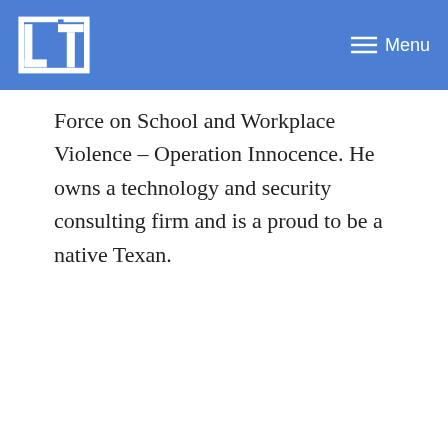LET — Menu
Force on School and Workplace Violence – Operation Innocence. He owns a technology and security consulting firm and is a proud to be a native Texan.
Around the Web
[Figure (photo): Background photo of a person's skin/face texture with an advertisement overlay for Premium Outlets showing in-store shopping, a circular logo icon, navigation arrow icon, and an X close button.]